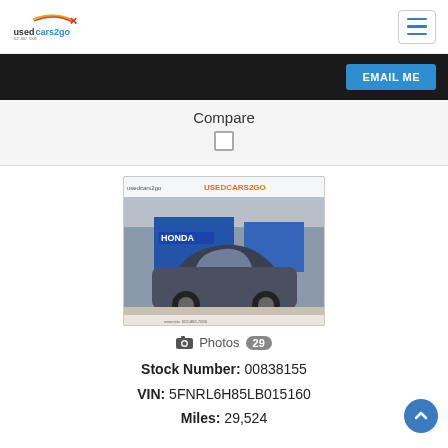usedcars2go logo and navigation hamburger button
EMAIL ME
Compare
[Figure (photo): Photo of a gray Honda SUV (Odyssey/Pilot) at a Honda dealership with USEDCARS2GO watermark and logo overlay on the image]
Photos 29
Stock Number: 00838155
VIN: 5FNRL6H85LB015160
Miles: 29,524